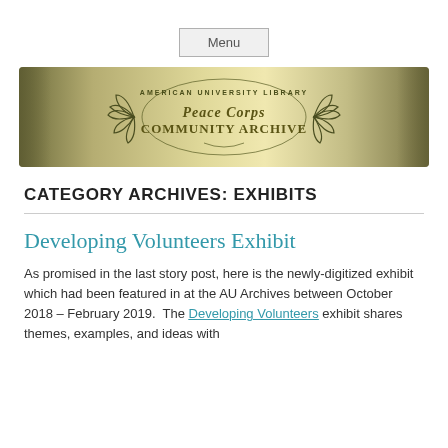Menu
[Figure (illustration): Banner image for American University Library Peace Corps Community Archive. Olive/gold background with decorative laurel wreath and text: AMERICAN UNIVERSITY LIBRARY, Peace Corps, COMMUNITY ARCHIVE.]
CATEGORY ARCHIVES: EXHIBITS
Developing Volunteers Exhibit
As promised in the last story post, here is the newly-digitized exhibit which had been featured in at the AU Archives between October 2018 – February 2019.  The Developing Volunteers exhibit shares themes, examples, and ideas with